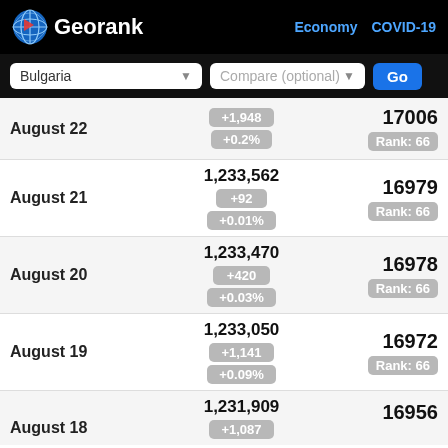Georank — Economy COVID-19
Bulgaria | Compare (optional) | Go
| Date | Cases | Deaths |
| --- | --- | --- |
| August 22 | +1,948 / +0.2% | 17006 / Rank: 66 |
| August 21 | 1,233,562 / +92 / +0.01% | 16979 / Rank: 66 |
| August 20 | 1,233,470 / +420 / +0.03% | 16978 / Rank: 66 |
| August 19 | 1,233,050 / +1,141 / +0.09% | 16972 / Rank: 66 |
| August 18 | 1,231,909 / +1,087 | 16956 |